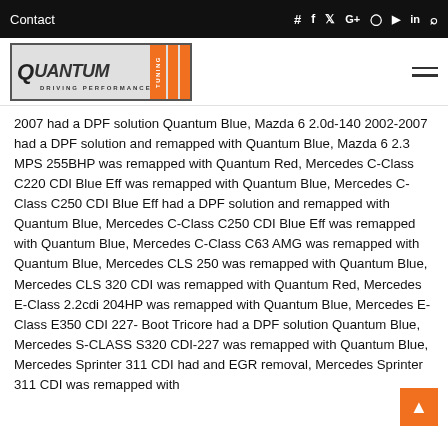Contact
[Figure (logo): Quantum Tuning logo with orange bars on the right]
2007 had a DPF solution Quantum Blue, Mazda 6 2.0d-140 2002-2007 had a DPF solution and remapped with Quantum Blue, Mazda 6 2.3 MPS 255BHP was remapped with Quantum Red, Mercedes C-Class C220 CDI Blue Eff was remapped with Quantum Blue, Mercedes C-Class C250 CDI Blue Eff had a DPF solution and remapped with Quantum Blue, Mercedes C-Class C250 CDI Blue Eff was remapped with Quantum Blue, Mercedes C-Class C63 AMG was remapped with Quantum Blue, Mercedes CLS 250 was remapped with Quantum Blue, Mercedes CLS 320 CDI was remapped with Quantum Red, Mercedes E-Class 2.2cdi 204HP was remapped with Quantum Blue, Mercedes E-Class E350 CDI 227- Boot Tricore had a DPF solution Quantum Blue, Mercedes S-CLASS S320 CDI-227 was remapped with Quantum Blue, Mercedes Sprinter 311 CDI had and EGR removal, Mercedes Sprinter 311 CDI was remapped with